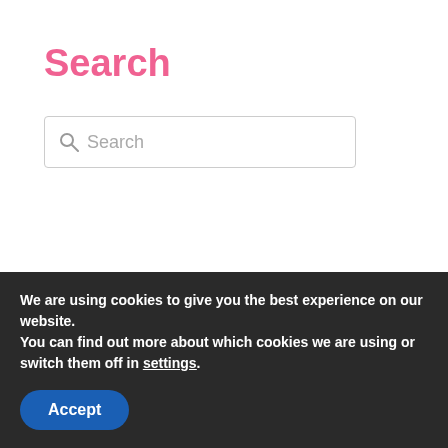Search
Search
© 2014-2022
PresentPerfect Creations studio
Norwich, UK
Individually crafted
fabric and leather flower accessories
We are using cookies to give you the best experience on our website.
You can find out more about which cookies we are using or switch them off in settings.
Accept